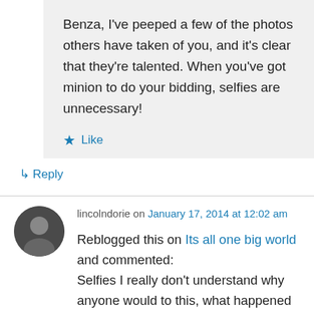Benza, I've peeped a few of the photos others have taken of you, and it's clear that they're talented. When you've got minion to do your bidding, selfies are unnecessary!
★ Like
↳ Reply
lincolndorie on January 17, 2014 at 12:02 am
Reblogged this on Its all one big world and commented: Selfies I really don't understand why anyone would to this, what happened to taking pictures of you and your friends with a good 'ole camera. I guess I have never thought that taking my